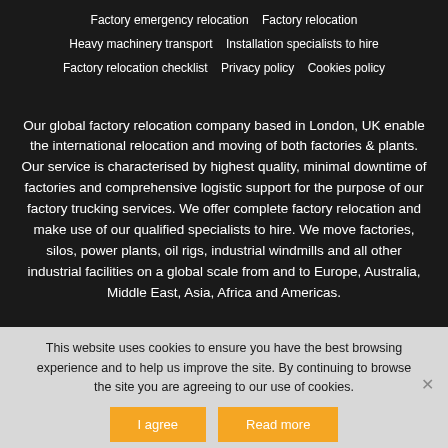Factory emergency relocation  Factory relocation  Heavy machinery transport  Installation specialists to hire  Factory relocation checklist  Privacy policy  Cookies policy
Our global factory relocation company based in London, UK enable the international relocation and moving of both factories & plants. Our service is characterised by highest quality, minimal downtime of factories and comprehensive logistic support for the purpose of our factory trucking services. We offer complete factory relocation and make use of our qualified specialists to hire. We move factories, silos, power plants, oil rigs, industrial windmills and all other industrial facilities on a global scale from and to Europe, Australia, Middle East, Asia, Africa and Americas.
This website uses cookies to ensure you have the best browsing experience and to help us improve the site. By continuing to browse the site you are agreeing to our use of cookies.
I agree
Read more